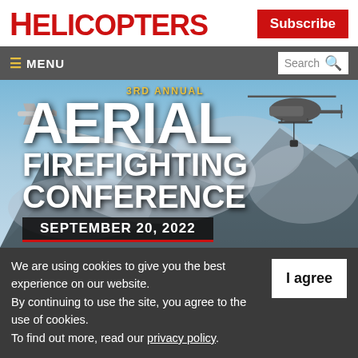HELICOPTERS
Subscribe
≡ MENU
Search
[Figure (illustration): 3rd Annual Aerial Firefighting Conference promotional banner showing aircraft (fixed-wing and helicopter) flying over mountains with smoke, with large white text overlay. Date: September 20, 2022]
We are using cookies to give you the best experience on our website.
By continuing to use the site, you agree to the use of cookies.
To find out more, read our privacy policy.
I agree